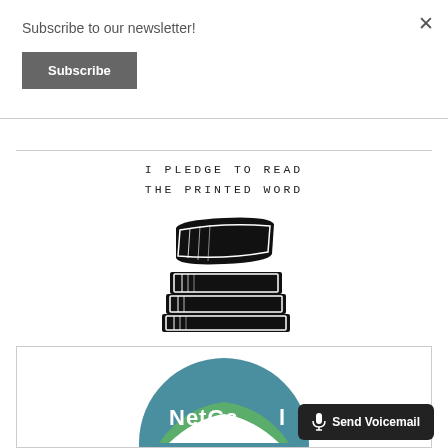Subscribe to our newsletter!
[Figure (other): Grey Subscribe button]
[Figure (illustration): Stack of books illustration with text 'I PLEDGE TO READ THE PRINTED WORD' in monospace typewriter font above it]
[Figure (logo): NetGalley logo partial circle in teal and green]
[Figure (other): Send Voicemail dark button with microphone icon]